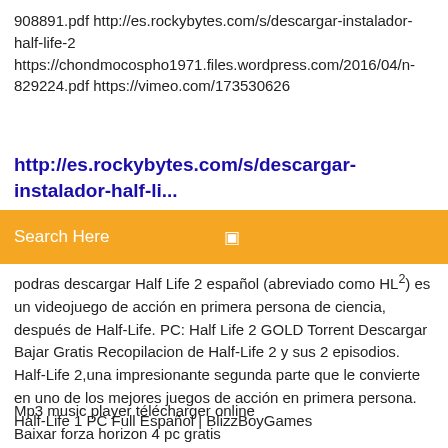908891.pdf http://es.rockybytes.com/s/descargar-instalador-half-life-2 https://chondmocospho1971.files.wordpress.com/2016/04/n-829224.pdf https://vimeo.com/173530626
http://es.rockybytes.com/s/descargar-instalador-half-li...
Search Here
podras descargar Half Life 2 español (abreviado como HL²) es un videojuego de acción en primera persona de ciencia, después de Half-Life. PC: Half Life 2 GOLD Torrent Descargar Bajar Gratis Recopilacion de Half-Life 2 y sus 2 episodios. Half-Life 2,una impresionante segunda parte que le convierte en uno de los mejores juegos de acción en primera persona. Half-Life 1 PC Full Español | BlizzBoyGames
Mp3 music player télécharger online
Baixar forza horizon 4 pc gratis